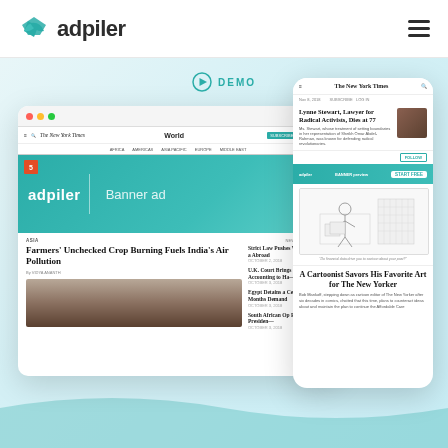[Figure (logo): Adpiler logo with teal arrow/leaf icon and bold 'adpiler' text in dark color, plus hamburger menu icon on right]
[Figure (screenshot): Screenshot mockup showing adpiler demo: a desktop browser window displaying New York Times website with adpiler banner ad overlay, and a mobile phone mockup showing the same NYT site with adpiler ad. A DEMO button with play icon appears above both mockups. The desktop view shows 'Farmers Unchecked Crop Burning Fuels India Air Pollution' headline and teal HTML5 banner. The mobile view shows 'Lynne Stewart, Lawyer for Radical Activists, Dies at 77' headline and 'A Cartoonist Savors His Favorite Art for The New Yorker' article.]